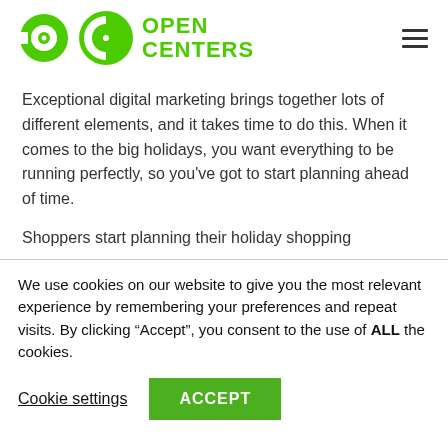Open Centers
Exceptional digital marketing brings together lots of different elements, and it takes time to do this. When it comes to the big holidays, you want everything to be running perfectly, so you’ve got to start planning ahead of time.
Shoppers start planning their holiday shopping
We use cookies on our website to give you the most relevant experience by remembering your preferences and repeat visits. By clicking “Accept”, you consent to the use of ALL the cookies.
Cookie settings
ACCEPT